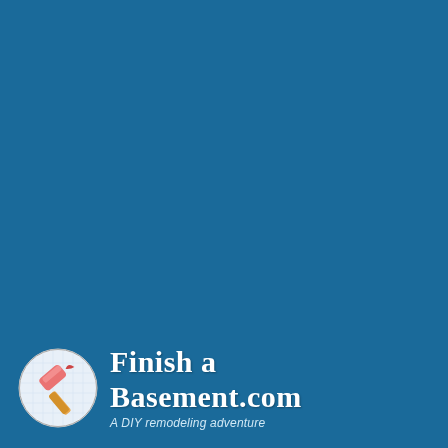[Figure (logo): Finish a Basement.com logo: a circular badge with a cartoon hammer icon on a white background, next to bold white text reading 'Finish a Basement.com' with tagline 'A DIY remodeling adventure' on a solid steel blue background.]